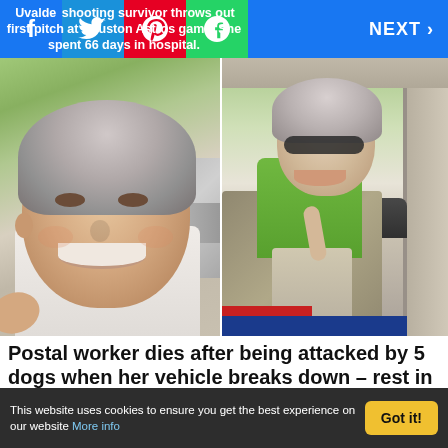Uvalde shooting survivor throws out first pitch at Houston Astros game. She spent 66 days in hospital.
[Figure (photo): Two-photo collage: left photo shows a smiling middle-aged woman with short curly gray hair wearing a white shirt; right photo shows an older woman with short gray hair in a green sleeveless shirt seated in the driver's seat of a mail truck, wearing sunglasses and smiling, with a seatbelt across her.]
Postal worker dies after being attacked by 5 dogs when her vehicle breaks down – rest in peace
[Figure (photo): Partial bottom photos visible, cropped off by cookie banner.]
This website uses cookies to ensure you get the best experience on our website More info
Got it!